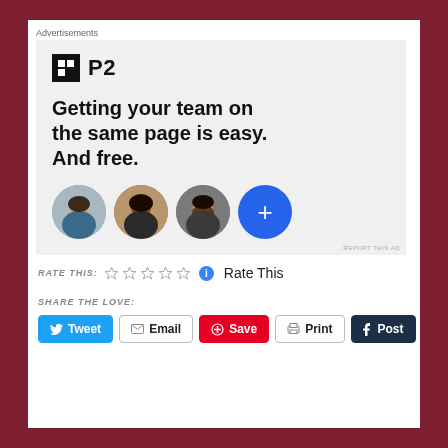Advertisements
[Figure (illustration): P2 advertisement with logo, headline 'Getting your team on the same page is easy. And free.' and three circular avatar photos plus a blue plus button]
REPORT THIS AD
RATE THIS: ☆☆☆☆☆ ℹ Rate This
SHARE THE LOVE:
Tweet  Email  Save  Print  Post